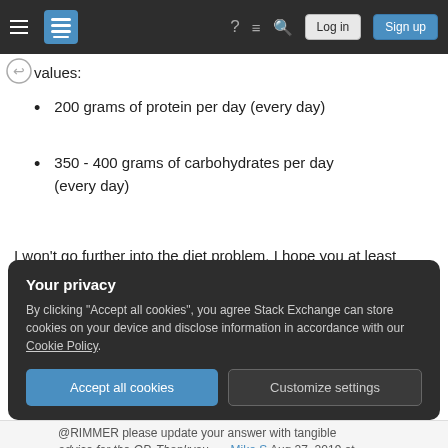Stack Exchange navigation bar with hamburger menu, logo, help, chat, search icons, Log in and Sign up buttons
values:
200 grams of protein per day (every day)
350 - 400 grams of carbohydrates per day (every day)
I won't go further into the diet problem. I hope you at least know the basics and if not, you should probably read about it in other threads or create a new thread specifically for that.
Your privacy
By clicking "Accept all cookies", you agree Stack Exchange can store cookies on your device and disclose information in accordance with our Cookie Policy.
Accept all cookies  Customize settings
@RIMMER please update your answer with tangible advice for the OP. Thankyou. — Mike S Aug 27, 2019 at